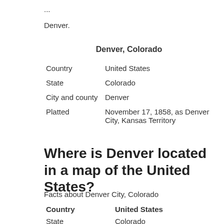...
Denver.
Denver, Colorado
| Country | United States |
| State | Colorado |
| City and county | Denver |
| Platted | November 17, 1858, as Denver City, Kansas Territory |
Where is Denver located in a map of the United States?
Facts about Denver City, Colorado
| Country | United States |
| --- | --- |
| State | Colorado |